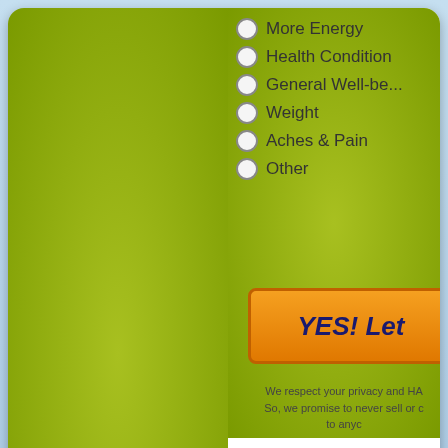More Energy
Health Condition
General Well-be...
Weight
Aches & Pain
Other
[Figure (screenshot): Orange YES! Let... button with dark blue italic bold text on gradient orange background]
We respect your privacy and HA... So, we promise to never sell or c... to anyc...
© 2010-2018 Acid Alkaline Diets. All Rights Reserved    Contact Us  |  Link T...